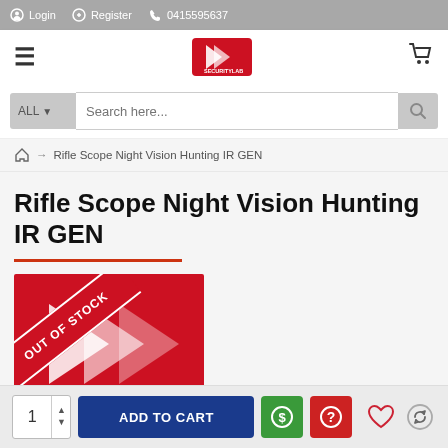Login  Register  0415595637
[Figure (logo): SecurityLab logo - red background with arrow/chevron icon and SECURITYLAB text]
Search here...
🏠 → Rifle Scope Night Vision Hunting IR GEN
Rifle Scope Night Vision Hunting IR GEN
[Figure (photo): Product image with OUT OF STOCK banner in red diagonal ribbon over SecurityLab logo background]
ADD TO CART